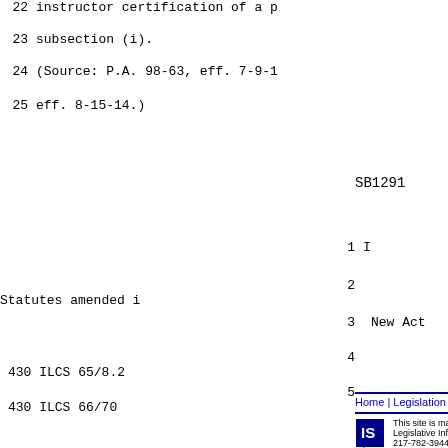22    instructor certification of a p
23    subsection (i).
24    (Source: P.A. 98-63, eff. 7-9-1
25    eff. 8-15-14.)
SB1291                         - 21
1                                    I
2              Statutes amended i
3      New Act
4      430 ILCS 65/8.2
5      430 ILCS 66/70
Home | Legislation & Laws | House | Senate
This site is maintained for the Illinois Gener Legislative Information System, 705 Stratto 217-782-3944  217-782-2050 (TTY)